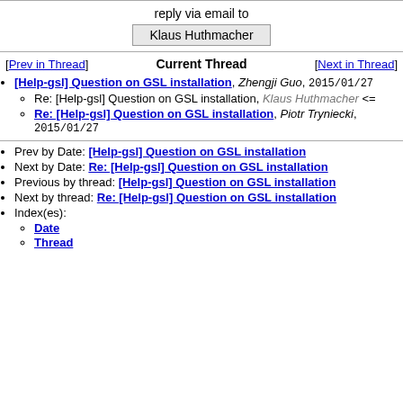reply via email to
Klaus Huthmacher
[Prev in Thread]  Current Thread  [Next in Thread]
[Help-gsl] Question on GSL installation, Zhengji Guo, 2015/01/27
Re: [Help-gsl] Question on GSL installation, Klaus Huthmacher <=
Re: [Help-gsl] Question on GSL installation, Piotr Tryniecki, 2015/01/27
Prev by Date: [Help-gsl] Question on GSL installation
Next by Date: Re: [Help-gsl] Question on GSL installation
Previous by thread: [Help-gsl] Question on GSL installation
Next by thread: Re: [Help-gsl] Question on GSL installation
Index(es): Date, Thread